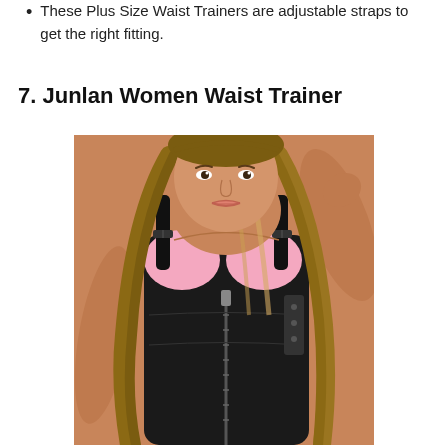These Plus Size Waist Trainers are adjustable straps to get the right fitting.
7. Junlan Women Waist Trainer
[Figure (photo): A woman wearing a black waist trainer with adjustable shoulder straps over a pink sports bra. The waist trainer has a front zipper and hook-and-eye closure on the side. The woman has long brown/blonde highlighted hair.]